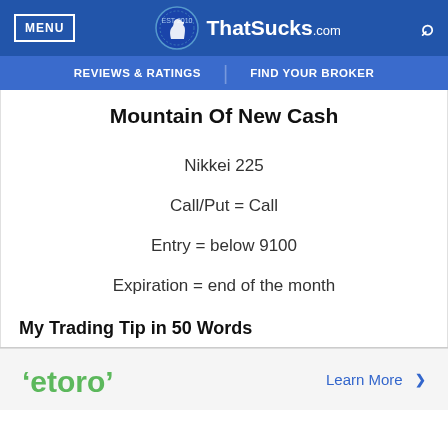MENU | ThatSucks.com | EST 2010
REVIEWS & RATINGS | FIND YOUR BROKER
Mountain Of New Cash
Nikkei 225
Call/Put = Call
Entry = below 9100
Expiration = end of the month
My Trading Tip in 50 Words
[Figure (logo): eToro logo with green text and quotation mark styling]
Learn More >